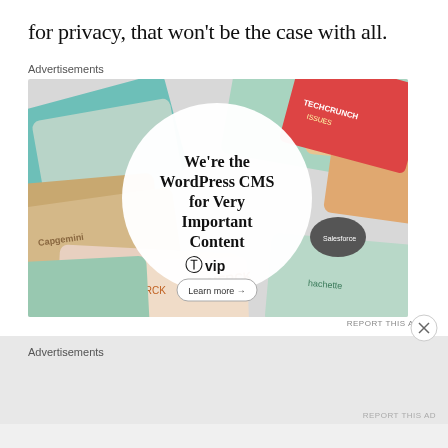for privacy, that won't be the case with all.
Advertisements
[Figure (screenshot): WordPress VIP advertisement showing various publisher brand cards (Meta, Facebook, Merck, Hachette, etc.) surrounding a central white circle with bold text: We're the WordPress CMS for Very Important Content, with a WordPress VIP logo and a Learn more button.]
REPORT THIS AD
Advertisements
REPORT THIS AD